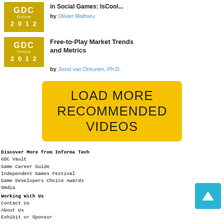[Figure (logo): GDC Online 2012 yellow logo thumbnail]
in Social Games: IsCool...
by Olivier Mathieu
[Figure (logo): GDC Online 2012 yellow logo thumbnail]
Free-to-Play Market Trends and Metrics
by Joost van Dreunen, Ph.D.
LOAD MORE RECOMMENDED VIDEOS
Discover More from Informa Tech
GDC Vault
Game Career Guide
Independent Games Festival
Game Developers Choice Awards
Omdia
Working With Us
Contact Us
About Us
Exhibit or Sponsor